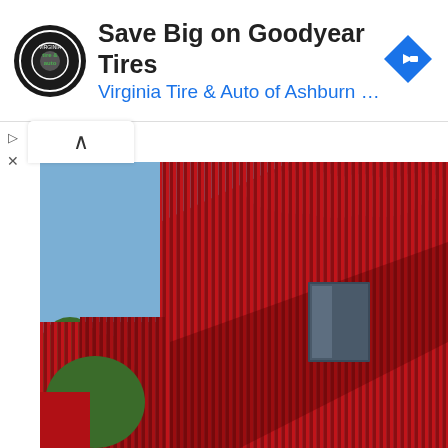[Figure (screenshot): Advertisement banner for Virginia Tire & Auto of Ashburn showing Goodyear Tires promotion with circular logo, text 'Save Big on Goodyear Tires' and 'Virginia Tire & Auto of Ashburn ...' in blue, and a blue diamond navigation arrow icon on the right.]
[Figure (photo): Architectural photograph of a modern red corrugated metal building facade with diagonal shadow line, a dark rectangular window, green trees in background, blue sky with clouds.]